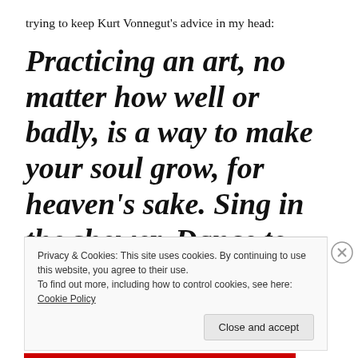trying to keep Kurt Vonnegut's advice in my head:
Practicing an art, no matter how well or badly, is a way to make your soul grow, for heaven's sake. Sing in the shower. Dance to the radio.
Privacy & Cookies: This site uses cookies. By continuing to use this website, you agree to their use.
To find out more, including how to control cookies, see here: Cookie Policy
Close and accept